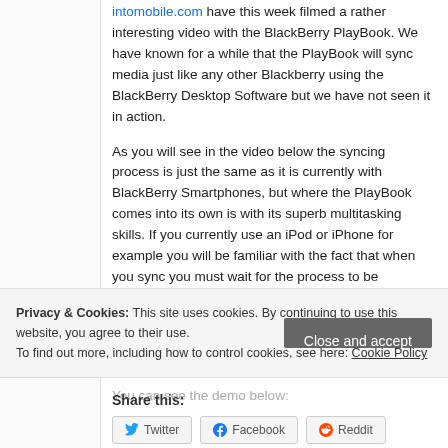intomobile.com have this week filmed a rather interesting video with the BlackBerry PlayBook. We have known for a while that the PlayBook will sync media just like any other Blackberry using the BlackBerry Desktop Software but we have not seen it in action.
As you will see in the video below the syncing process is just the same as it is currently with BlackBerry Smartphones, but where the PlayBook comes into its own is with its superb multitasking skills. If you currently use an iPod or iPhone for example you will be familiar with the fact that when you sync you must wait for the process to be complete before you can do anything else with the device. Things are a little different with the PlayBook as it continues it on syncing in the background allowing you to use other tasks. Nice.
You can see the demo below:
Privacy & Cookies: This site uses cookies. By continuing to use this website, you agree to their use. To find out more, including how to control cookies, see here: Cookie Policy
Share this:
Twitter
Facebook
Reddit